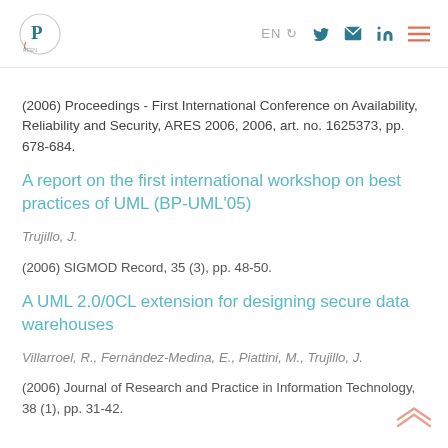EN [nav icons]
(2006) Proceedings - First International Conference on Availability, Reliability and Security, ARES 2006, 2006, art. no. 1625373, pp. 678-684.
A report on the first international workshop on best practices of UML (BP-UML'05)
Trujillo, J.
(2006) SIGMOD Record, 35 (3), pp. 48-50.
A UML 2.0/0CL extension for designing secure data warehouses
Villarroel, R., Fernández-Medina, E., Piattini, M., Trujillo, J.
(2006) Journal of Research and Practice in Information Technology, 38 (1), pp. 31-42.